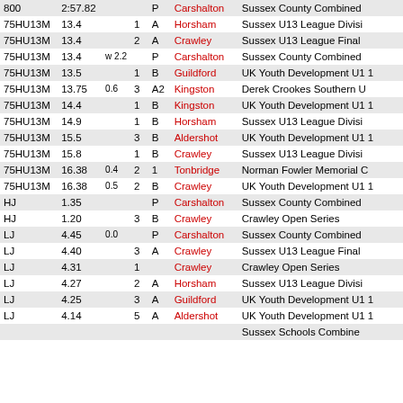| Event | Perf | Wind | Pos | Cat | Venue | Meeting |
| --- | --- | --- | --- | --- | --- | --- |
| 800 | 2:57.82 |  |  | P | Carshalton | Sussex County Combined |
| 75HU13M | 13.4 |  | 1 | A | Horsham | Sussex U13 League Divisi |
| 75HU13M | 13.4 |  | 2 | A | Crawley | Sussex U13 League Final |
| 75HU13M | 13.4 | w 2.2 |  | P | Carshalton | Sussex County Combined |
| 75HU13M | 13.5 |  | 1 | B | Guildford | UK Youth Development U1 1 |
| 75HU13M | 13.75 | 0.6 | 3 | A2 | Kingston | Derek Crookes Southern U |
| 75HU13M | 14.4 |  | 1 | B | Kingston | UK Youth Development U1 1 |
| 75HU13M | 14.9 |  | 1 | B | Horsham | Sussex U13 League Divisi |
| 75HU13M | 15.5 |  | 3 | B | Aldershot | UK Youth Development U1 1 |
| 75HU13M | 15.8 |  | 1 | B | Crawley | Sussex U13 League Divisi |
| 75HU13M | 16.38 | 0.4 | 2 | 1 | Tonbridge | Norman Fowler Memorial C |
| 75HU13M | 16.38 | 0.5 | 2 | B | Crawley | UK Youth Development U1 1 |
| HJ | 1.35 |  |  | P | Carshalton | Sussex County Combined |
| HJ | 1.20 |  | 3 | B | Crawley | Crawley Open Series |
| LJ | 4.45 | 0.0 |  | P | Carshalton | Sussex County Combined |
| LJ | 4.40 |  | 3 | A | Crawley | Sussex U13 League Final |
| LJ | 4.31 |  | 1 |  | Crawley | Crawley Open Series |
| LJ | 4.27 |  | 2 | A | Horsham | Sussex U13 League Divisi |
| LJ | 4.25 |  | 3 | A | Guildford | UK Youth Development U1 1 |
| LJ | 4.14 |  | 5 | A | Aldershot | UK Youth Development U1 1 |
|  |  |  |  |  |  | Sussex Schools Combine |